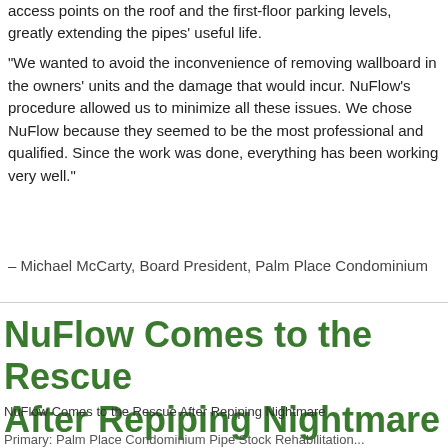access points on the roof and the first-floor parking levels, greatly extending the pipes' useful life.
"We wanted to avoid the inconvenience of removing wallboard in the owners' units and the damage that would incur. NuFlow's procedure allowed us to minimize all these issues. We chose NuFlow because they seemed to be the most professional and qualified. Since the work was done, everything has been working very well."
– Michael McCarty, Board President, Palm Place Condominium
NuFlow Comes to the Rescue After Repiping Nightmare
NuFlow Comes to the Rescue After Repiping Nightmare
Primary: Palm Place Condominium Pipe Stock Rehabilitation...